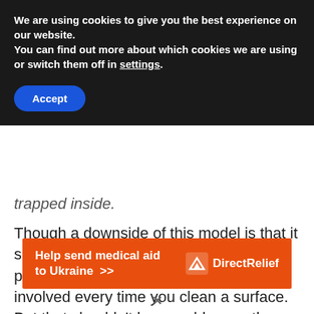We are using cookies to give you the best experience on our website.
You can find out more about which cookies we are using or switch them off in settings.
Accept
trapped inside.
Though a downside of this model is that it sprinkles the dust or allergens while picking them up so few repetitions are involved every time you clean a surface. But that shouldn’t be a problem as the unit is lightweight and cleaning is effortless.
[Figure (other): Orange Direct Relief advertisement banner: 'Help send medical aid to Ukraine >>' with Direct Relief logo on the right]